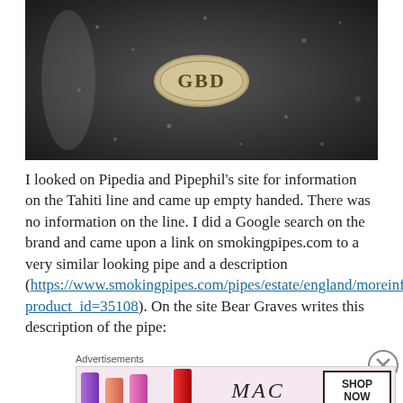[Figure (photo): Close-up photograph of a dark pipe stem with a metallic oval badge/stamp showing 'GBD' text, with water droplets visible on the surface]
I looked on Pipedia and Pipephil's site for information on the Tahiti line and came up empty handed. There was no information on the line. I did a Google search on the brand and came upon a link on smokingpipes.com to a very similar looking pipe and a description (https://www.smokingpipes.com/pipes/estate/england/moreinfo.cfm?product_id=35108). On the site Bear Graves writes this description of the pipe:
[Figure (photo): MAC cosmetics advertisement banner showing lipsticks in purple, salmon, and pink colors with MAC logo and SHOP NOW button]